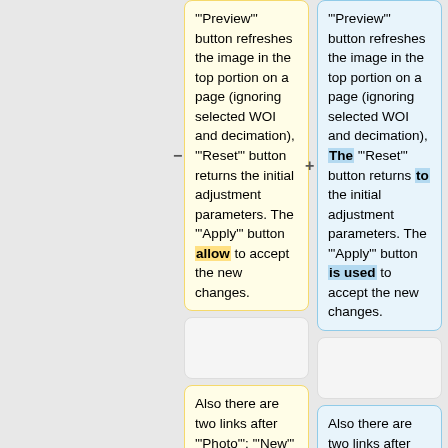'"Preview"' button refreshes the image in the top portion on a page (ignoring selected WOI and decimation), '"Reset"' button returns the initial adjustment parameters. The '"Apply"' button allow to accept the new changes.
'"Preview"' button refreshes the image in the top portion on a page (ignoring selected WOI and decimation), The '"Reset"' button returns to the initial adjustment parameters. The '"Apply"' button is used to accept the new changes.
Also there are two links after '"Photo"': '"New"' contains a link to a camera CGI...
Also there are two links after '"Photo"': '"New"' contains a link to a camera CGI...